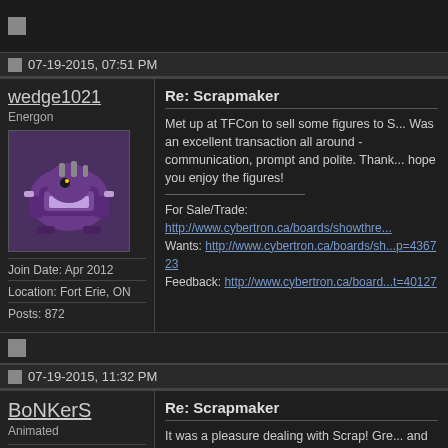07-19-2015, 07:51 PM
wedge1021
Energon
Join Date: Apr 2012
Location: Fort Erie, ON
Posts: 872
Re: Scrapmaker
Met up at TFCon to sell some figures to S... Was an excellent transaction all around - communication, prompt and polite. Thank... hope you enjoy the figures!
For Sale/Trade: http://www.cybertron.ca/boards/showthre... Wants: http://www.cybertron.ca/boards/sh...p=436723 Feedback: http://www.cybertron.ca/board...t=40127
07-19-2015, 11:32 PM
BoNKerS
Animated
Join Date: Jul 2012
Location: York Region
Re: Scrapmaker
It was a pleasure dealing with Scrap! Gre... and quick response time.
no doubt recommended!